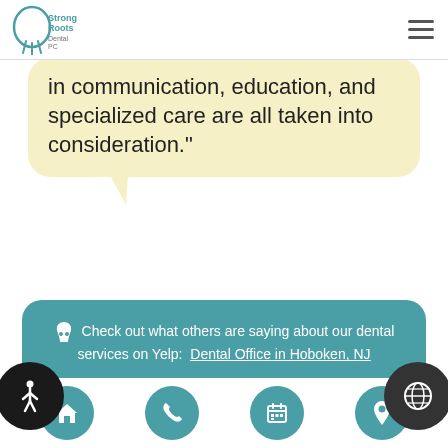[Figure (logo): StrongRoots Dental PC logo with tooth and roots icon]
in communication, education, and specialized care are all taken into consideration."
✱ Check out what others are saying about our dental services on Yelp:  Dental Office in Hoboken, NJ
Home | Phone | Calendar | Location navigation icons